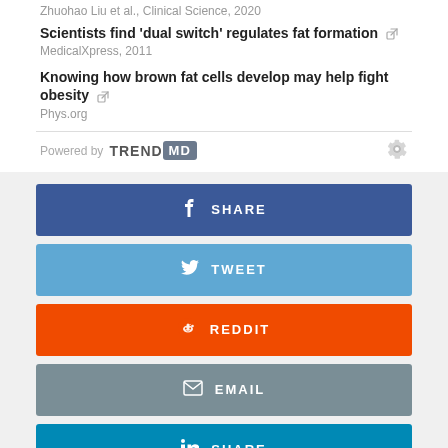Zhuohao Liu et al., Clinical Science, 2020
Scientists find 'dual switch' regulates fat formation
MedicalXpress, 2011
Knowing how brown fat cells develop may help fight obesity
Phys.org
[Figure (infographic): TrendMD powered-by logo bar with gear icon]
[Figure (infographic): Share buttons: Facebook SHARE, Twitter TWEET, Reddit REDDIT, Email EMAIL, LinkedIn SHARE]